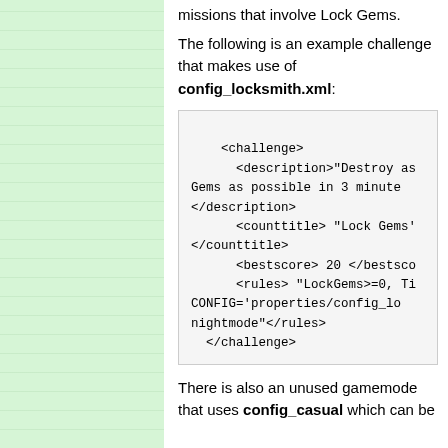missions that involve Lock Gems.
The following is an example challenge that makes use of config_locksmith.xml:
<challenge>
    <description>"Destroy as
Gems as possible in 3 minute
</description>
    <counttitle> "Lock Gems'
</counttitle>
    <bestscore> 20 </bestsco
    <rules> "LockGems>=0, Ti
CONFIG='properties/config_lo
nightmode"</rules>
  </challenge>
There is also an unused gamemode that uses config_casual which can be